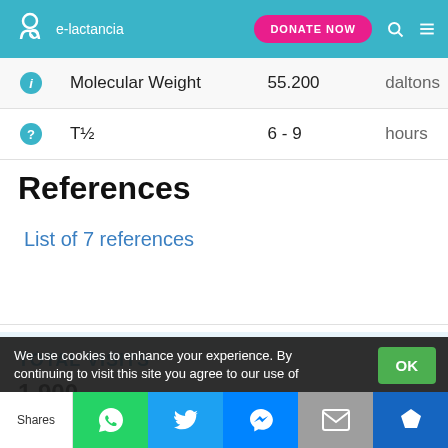e-lactancia  DONATE NOW
|  | Property | Value | Unit |
| --- | --- | --- | --- |
| i | Molecular Weight | 55.200 | daltons |
| ? | T½ | 6 - 9 | hours |
References
List of 7 references
TOTAL VISITS
1,900
We use cookies to enhance your experience. By continuing to visit this site you agree to our use of
OK
Shares